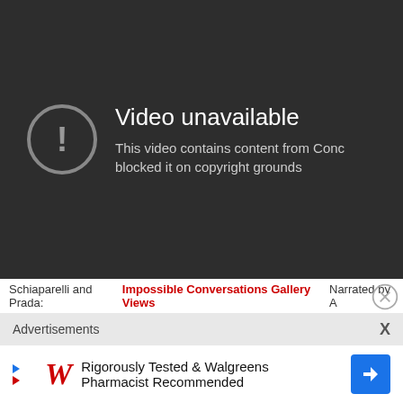[Figure (screenshot): YouTube video unavailable error screen with dark background, exclamation mark in circle icon, text 'Video unavailable' and 'This video contains content from Conc, blocked it on copyright grounds']
Schiaparelli and Prada: Impossible Conversations Gallery Views Narrated by A
Advertisements X
[Figure (screenshot): Walgreens advertisement: 'Rigorously Tested & Walgreens Pharmacist Recommended' with Walgreens W logo and blue arrow icon]